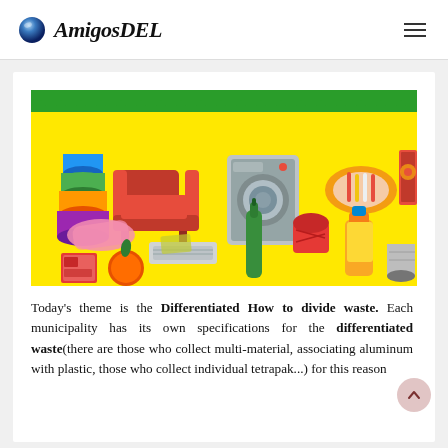AmigosDEL
[Figure (photo): Yellow background image showing various household waste items including colored plastic containers, a red armchair, a washing machine, a plate with plastic cutlery, a juice carton, a plastic bag, aluminum foil tray, a green glass bottle, a crushed can, a yellow plastic bottle, a tin can, a small box, and an orange fruit/compost item. Green zigzag border at top.]
Today's theme is the Differentiated How to divide waste. Each municipality has its own specifications for the differentiated waste(there are those who collect multi-material, associating aluminum with plastic, those who collect individual tetrapak...) for this reason